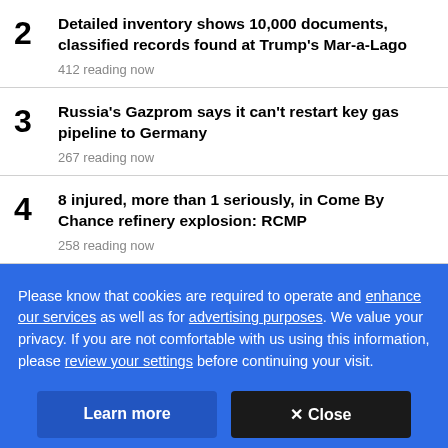2 Detailed inventory shows 10,000 documents, classified records found at Trump's Mar-a-Lago
412 reading now
3 Russia's Gazprom says it can't restart key gas pipeline to Germany
267 reading now
4 8 injured, more than 1 seriously, in Come By Chance refinery explosion: RCMP
258 reading now
Please know that cookies are required to operate and enhance our services as well as for advertising purposes. We value your privacy. If you are not comfortable with us using this information, please review your settings before continuing your visit.